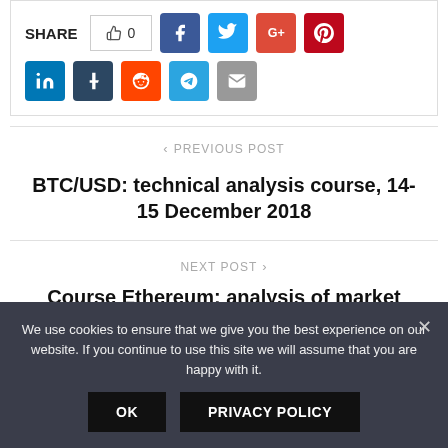SHARE  👍 0  [Facebook] [Twitter] [Google+] [Pinterest] [LinkedIn] [Tumblr] [Reddit] [Telegram] [Email]
< PREVIOUS POST
BTC/USD: technical analysis course, 14-15 December 2018
NEXT POST >
Course Ethereum: analysis of market news, December 15, 2018
We use cookies to ensure that we give you the best experience on our website. If you continue to use this site we will assume that you are happy with it.
OK   PRIVACY POLICY